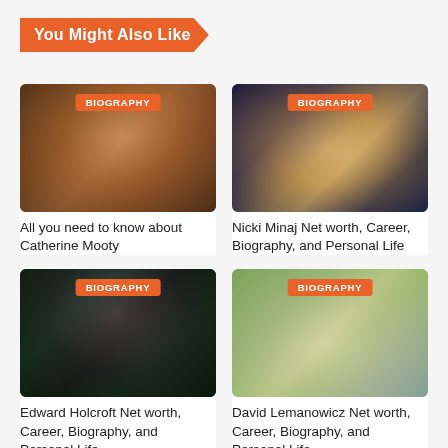You Might Also Like
[Figure (photo): Photo of Catherine Mooty, a woman with wavy hair at a dinner table with candles, with a BIOGRAPHY badge overlay]
All you need to know about Catherine Mooty
[Figure (photo): Photo of Nicki Minaj with long blonde hair wearing pink outfit, with a BIOGRAPHY badge overlay]
Nicki Minaj Net worth, Career, Biography, and Personal Life
[Figure (photo): Photo of Edward Holcroft in a black tuxedo at what appears to be a BAFTA event, with a BIOGRAPHY badge overlay]
Edward Holcroft Net worth, Career, Biography, and Personal Life
[Figure (photo): Photo of David Lemanowicz with family outdoors in a field, with a BIOGRAPHY badge overlay]
David Lemanowicz Net worth, Career, Biography, and Personal Life